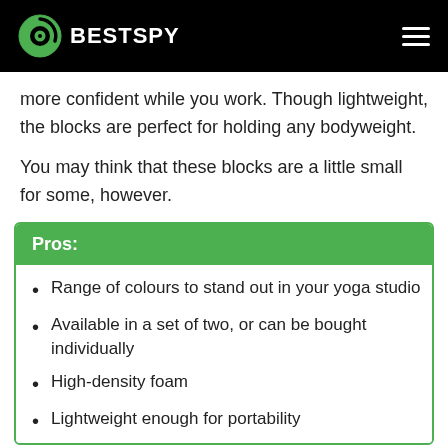BESTSPY
more confident while you work. Though lightweight, the blocks are perfect for holding any bodyweight.
You may think that these blocks are a little small for some, however.
Pros:
Range of colours to stand out in your yoga studio
Available in a set of two, or can be bought individually
High-density foam
Lightweight enough for portability